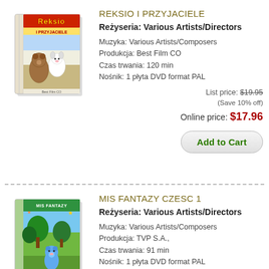[Figure (photo): DVD box cover of Reksio i Przyjaciele showing cartoon characters]
REKSIO I PRZYJACIELE
Reżyseria: Various Artists/Directors
Muzyka: Various Artists/Composers
Produkcja: Best Film CO
Czas trwania: 120 min
Nośnik: 1 płyta DVD format PAL
List price: $19.95
(Save 10% off)
Online price: $17.96
Add to Cart
[Figure (photo): DVD box cover of Mis Fantazy Czesc 1 showing cartoon bear characters]
MIS FANTAZY CZESC 1
Reżyseria: Various Artists/Directors
Muzyka: Various Artists/Composers
Produkcja: TVP S.A.,
Czas trwania: 91 min
Nośnik: 1 płyta DVD format PAL
List price: $14.95
(Save 10% off)
Online price: $13.46